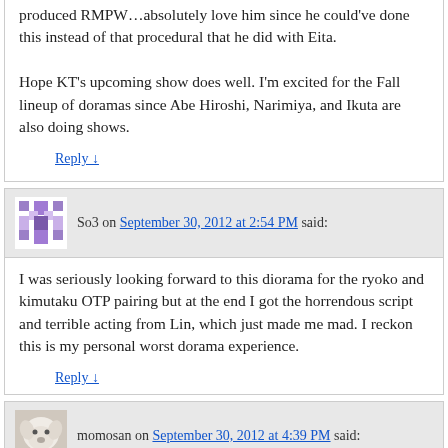produced RMPW…absolutely love him since he could've done this instead of that procedural that he did with Eita.

Hope KT's upcoming show does well. I'm excited for the Fall lineup of doramas since Abe Hiroshi, Narimiya, and Ikuta are also doing shows.
Reply ↓
So3 on September 30, 2012 at 2:54 PM said:
I was seriously looking forward to this diorama for the ryoko and kimutaku OTP pairing but at the end I got the horrendous script and terrible acting from Lin, which just made me mad. I reckon this is my personal worst dorama experience.
Reply ↓
momosan on September 30, 2012 at 4:39 PM said:
Snerk. Giggle. I couldn't make it very far. It was just mind blowingly bad.
Reply ↓